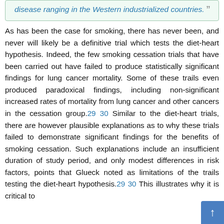disease ranging in the Western industrialized countries.
As has been the case for smoking, there has never been, and never will likely be a definitive trial which tests the diet-heart hypothesis. Indeed, the few smoking cessation trials that have been carried out have failed to produce statistically significant findings for lung cancer mortality. Some of these trails even produced paradoxical findings, including non-significant increased rates of mortality from lung cancer and other cancers in the cessation group.29 30 Similar to the diet-heart trials, there are however plausible explanations as to why these trials failed to demonstrate significant findings for the benefits of smoking cessation. Such explanations include an insufficient duration of study period, and only modest differences in risk factors, points that Glueck noted as limitations of the trails testing the diet-heart hypothesis.29 30 This illustrates why it is critical to